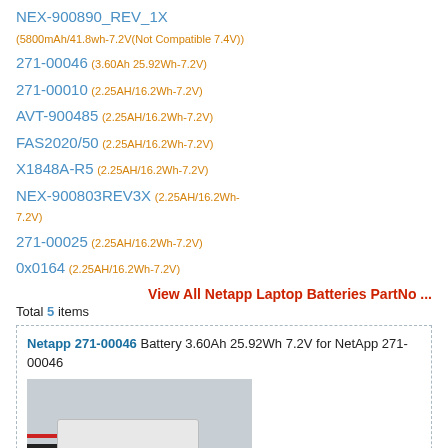NEX-900890_REV_1X (5800mAh/41.8wh-7.2V(Not Compatible 7.4V))
271-00046 (3.60Ah 25.92Wh-7.2V)
271-00010 (2.25AH/16.2Wh-7.2V)
AVT-900485 (2.25AH/16.2Wh-7.2V)
FAS2020/50 (2.25AH/16.2Wh-7.2V)
X1848A-R5 (2.25AH/16.2Wh-7.2V)
NEX-900803REV3X (2.25AH/16.2Wh-7.2V)
271-00025 (2.25AH/16.2Wh-7.2V)
0x0164 (2.25AH/16.2Wh-7.2V)
View All Netapp Laptop Batteries PartNo ...
Total 5 items
Netapp 271-00046 Battery 3.60Ah 25.92Wh 7.2V for NetApp 271-00046
[Figure (photo): Photo of a white rectangular battery pack with red and black wires attached, placed on a grey surface.]